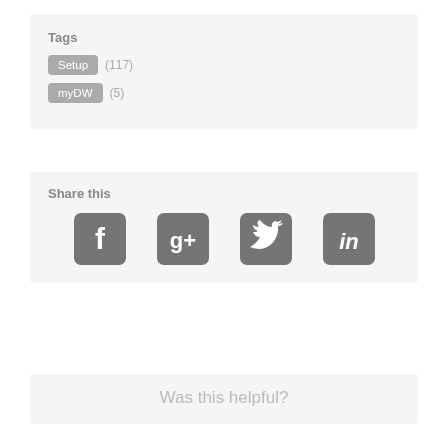Tags
Setup (117)
myDW (5)
Share this
[Figure (infographic): Four social media share icons: Facebook, Google+, Twitter, LinkedIn — rendered as rounded square buttons in grey]
Was this helpful?